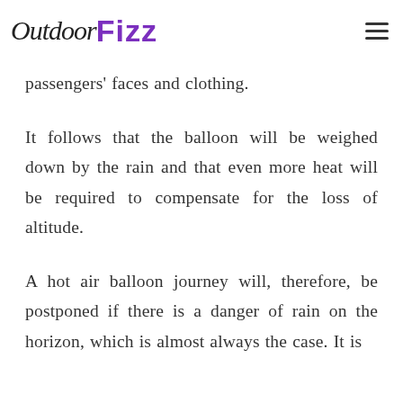OutdoorFizz
passengers' faces and clothing.
It follows that the balloon will be weighed down by the rain and that even more heat will be required to compensate for the loss of altitude.
A hot air balloon journey will, therefore, be postponed if there is a danger of rain on the horizon, which is almost always the case. It is